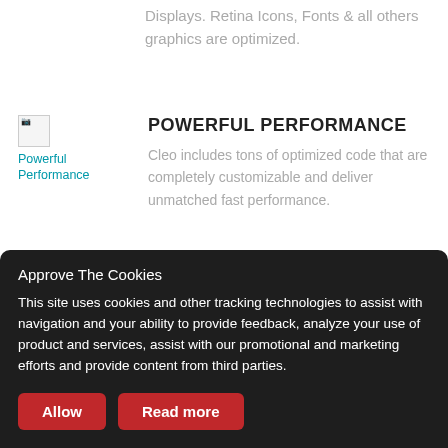Displays. Retina Icons, Fonts & all others graphics are optimized.
[Figure (illustration): Powerful Performance icon image with teal label text]
POWERFUL PERFORMANCE
Cleo includes tons of optimized code that are completely customizable and deliver unmatched fast performance.
[Figure (illustration): Half-circle teal/dark icon for Light & Dark Color Scheme]
LIGHT & DARK COLOR SCHEME
Approve The Cookies
This site uses cookies and other tracking technologies to assist with navigation and your ability to provide feedback, analyze your use of product and services, assist with our promotional and marketing efforts and provide content from third parties.